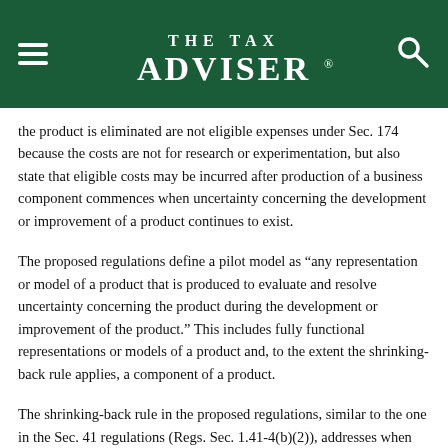THE TAX ADVISER
the product is eliminated are not eligible expenses under Sec. 174 because the costs are not for research or experimentation, but also state that eligible costs may be incurred after production of a business component commences when uncertainty concerning the development or improvement of a product continues to exist.
The proposed regulations define a pilot model as “any representation or model of a product that is produced to evaluate and resolve uncertainty concerning the product during the development or improvement of the product.” This includes fully functional representations or models of a product and, to the extent the shrinking-back rule applies, a component of a product.
The shrinking-back rule in the proposed regulations, similar to the one in the Sec. 41 regulations (Regs. Sec. 1.41-4(b)(2)), addresses when the requirements for Sec. 174 eligibility are met